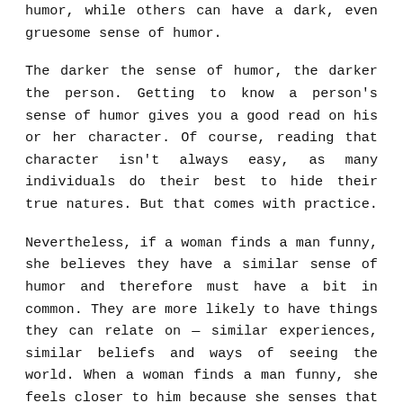humor, while others can have a dark, even gruesome sense of humor.
The darker the sense of humor, the darker the person. Getting to know a person's sense of humor gives you a good read on his or her character. Of course, reading that character isn't always easy, as many individuals do their best to hide their true natures. But that comes with practice.
Nevertheless, if a woman finds a man funny, she believes they have a similar sense of humor and therefore must have a bit in common. They are more likely to have things they can relate on — similar experiences, similar beliefs and ways of seeing the world. When a woman finds a man funny, she feels closer to him because she senses that they can understand each other in a way not everyone can.
On top of this, laughing makes you feel really good; it's a great aphrodisiac. Laughing makes you feel alive and happy. Who